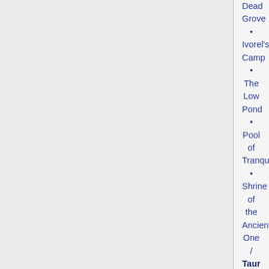Dead Grove • Ivorel's Camp • The Low Pond • Pool of Tranquility • Shrine of the Ancient One / Taur Morvith: Iavassúl's Watch • Krul Lugu • Sād Morangol • The Verdant Shrine
Interiors: Agistath • Crafting Hall of Ost Galadh • Gadorgar • Gath Ulunn • Gorogrod • Gostador • Minas Gîl •